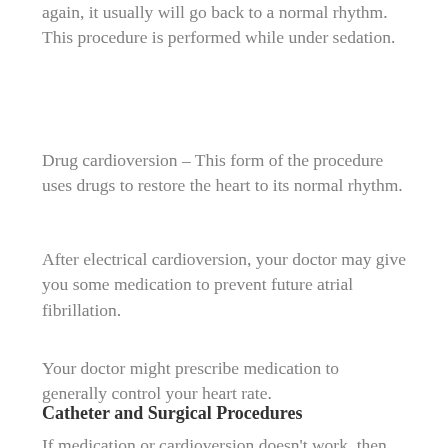again, it usually will go back to a normal rhythm. This procedure is performed while under sedation.
Drug cardioversion – This form of the procedure uses drugs to restore the heart to its normal rhythm.
After electrical cardioversion, your doctor may give you some medication to prevent future atrial fibrillation.
Your doctor might prescribe medication to generally control your heart rate.
Catheter and Surgical Procedures
If medication or cardioversion doesn't work, then your doctor may use a procedure to destroy the area